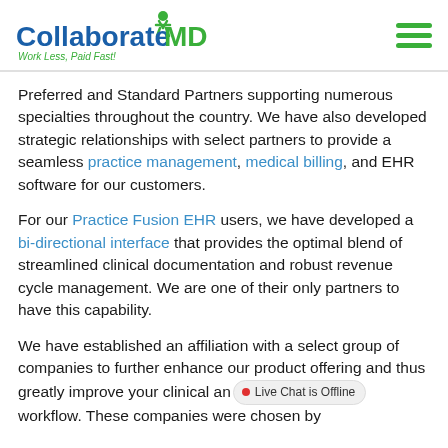[Figure (logo): CollaborateMD logo with tagline 'Work Less, Paid Fast!' and hamburger menu icon]
Preferred and Standard Partners supporting numerous specialties throughout the country. We have also developed strategic relationships with select partners to provide a seamless practice management, medical billing, and EHR software for our customers.
For our Practice Fusion EHR users, we have developed a bi-directional interface that provides the optimal blend of streamlined clinical documentation and robust revenue cycle management. We are one of their only partners to have this capability.
We have established an affiliation with a select group of companies to further enhance our product offering and thus greatly improve your clinical and workflow. These companies were chosen by